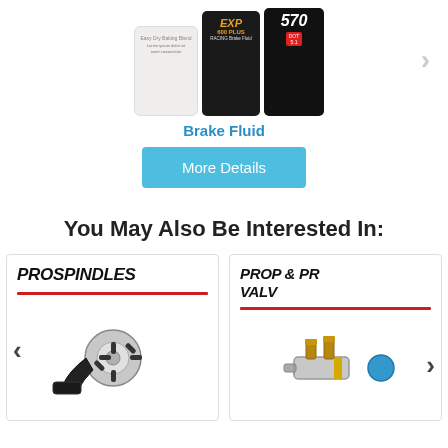[Figure (photo): Three bottles of brake fluid products - a white can, a black EXP 600 PLUS Racing Brake Fluid bottle, and a black 570 DOT brake fluid bottle, with a right navigation arrow]
Brake Fluid
More Details
You May Also Be Interested In:
[Figure (photo): PROSPINDLES product card showing a black and silver racing spindle/hub assembly with left navigation arrow]
[Figure (photo): PROP & PR VALV product card showing brake proportioning valve hardware with brass fittings and blue component, with right navigation arrow]